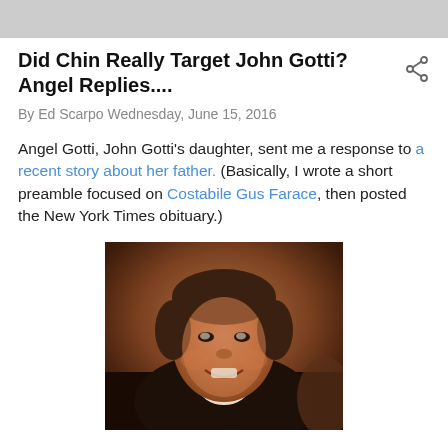Did Chin Really Target John Gotti? Angel Replies....
By Ed Scarpo Wednesday, June 15, 2016
Angel Gotti, John Gotti's daughter, sent me a response to a recent story about her father. (Basically, I wrote a short preamble focused on Costabile Gus Farace, then posted the New York Times obituary.)
[Figure (photo): Photo of a smiling middle-aged man with dark hair, wearing a dark suit and light shirt, photographed indoors.]